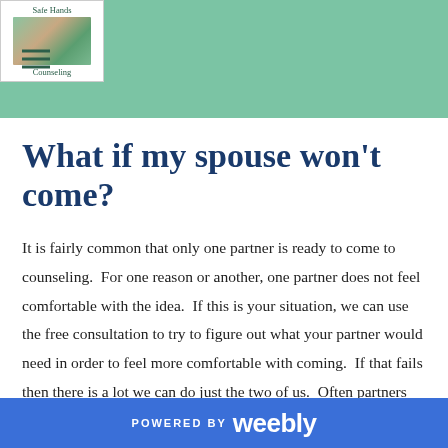Safe Hands Counseling
What if my spouse won't come?
It is fairly common that only one partner is ready to come to counseling.  For one reason or another, one partner does not feel comfortable with the idea.  If this is your situation, we can use the free consultation to try to figure out what your partner would need in order to feel more comfortable with coming.  If that fails then there is a lot we can do just the two of us.  Often partners start feeling more comfortable with the idea of counseling when they see
POWERED BY weebly